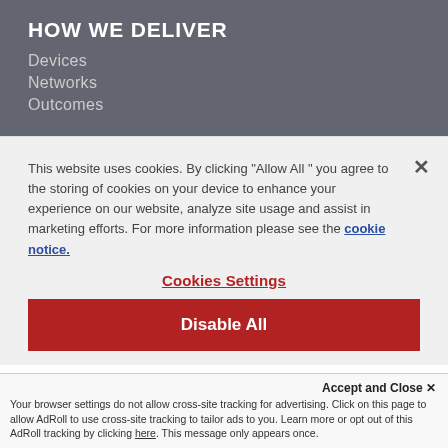HOW WE DELIVER
Devices
Networks
Outcomes
This website uses cookies. By clicking "Allow All " you agree to the storing of cookies on your device to enhance your experience on our website, analyze site usage and assist in marketing efforts. For more information please see the cookie notice.
Cookies Settings
Disable All
Accept and Close ✕
Your browser settings do not allow cross-site tracking for advertising. Click on this page to allow AdRoll to use cross-site tracking to tailor ads to you. Learn more or opt out of this AdRoll tracking by clicking here. This message only appears once.